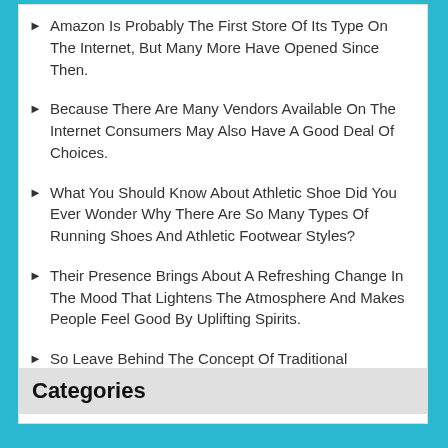Amazon Is Probably The First Store Of Its Type On The Internet, But Many More Have Opened Since Then.
Because There Are Many Vendors Available On The Internet Consumers May Also Have A Good Deal Of Choices.
What You Should Know About Athletic Shoe Did You Ever Wonder Why There Are So Many Types Of Running Shoes And Athletic Footwear Styles?
Their Presence Brings About A Refreshing Change In The Mood That Lightens The Atmosphere And Makes People Feel Good By Uplifting Spirits.
So Leave Behind The Concept Of Traditional Shopping Of Going To Market And Search For The Best Product.
Categories